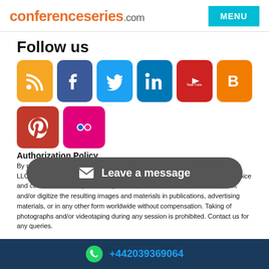conferenceseries.com | MENU
Follow us
[Figure (infographic): Row of social media icons: RSS (orange), Facebook (dark blue), Twitter (light blue), LinkedIn (blue), YouTube (red), Blog/Blogger (orange), Pinterest (red), Flickr (pink)]
[Figure (infographic): Leave a message button overlay (dark rounded rectangle with envelope icon)]
Authorization Policy
By registering for the conference, you grant permission to Conference Series LLC Ltd to photograph, film or record and use your name, likeness, image, voice and comments and to publish, reproduce, exhibit, distribute, broadcast, edit and/or digitize the resulting images and materials in publications, advertising materials, or in any other form worldwide without compensation. Taking of photographs and/or videotaping during any session is prohibited. Contact us for any queries.
+442039369064